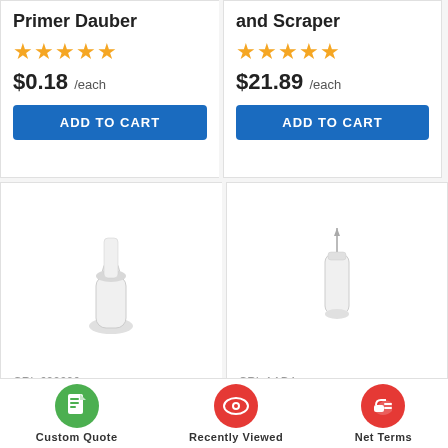Primer Dauber
[Figure (other): 5-star rating in yellow]
$0.18 /each
ADD TO CART
and Scraper
[Figure (other): 5-star rating in yellow]
$21.89 /each
ADD TO CART
[Figure (photo): Screw-On V-Notched Urethane Nozzle product image]
CRL 690006
Screw-On V-Notched Urethane Nozzles -
[Figure (photo): Plastic Applicator Bottle with Needle product image]
CRL AAB4
Plastic Applicator Bottle with Needle
Custom Quote
Recently Viewed
Net Terms